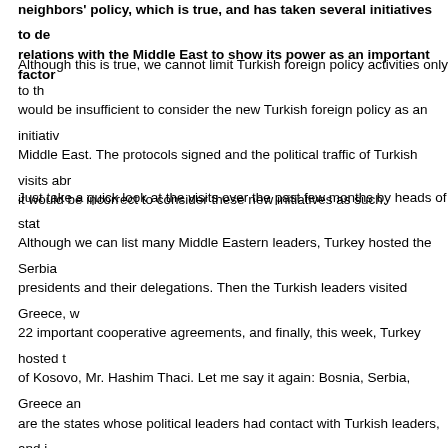neighbors' policy, which is true, and has taken several initiatives to develop relations with the Middle East to show its power as an important factor
Although this is true, we cannot limit Turkish foreign policy activities only to the Middle East. It would be insufficient to consider the new Turkish foreign policy as an initiative directed only to the Middle East. The protocols signed and the political traffic of Turkish visits abroad show that it would be incorrect to consider these new initiatives as such.
Just take a quick look at the visits over the past few months by heads of state and ministers. Although we can list many Middle Eastern leaders, Turkey hosted the Serbian and Bosnian presidents and their delegations. Then the Turkish leaders visited Greece, where they signed 22 important cooperative agreements, and finally, this week, Turkey hosted the Prime Minister of Kosovo, Mr. Hashim Thaci. Let me say it again: Bosnia, Serbia, Greece and Kosovo are the states whose political leaders had contact with Turkish leaders, and important steps initiated new steps for relations with these countries with Turkey as well as among each other. Turkish engagement in the Balkans shows that active Turkish foreign policy works not only in the Middle East and Central Asia but in the Balkans, a region that Turkey finds equally important. The Serbian and Bosnian leaders came together to initiate cooperation under the initiative of Turkey for further cooperation, despite their bitter past. What is more important, they decided in their next meeting that Croatia will also take part. The agreements with Greece show that Turkey has the capacity and the power to be a regional power in the Balkans as well.